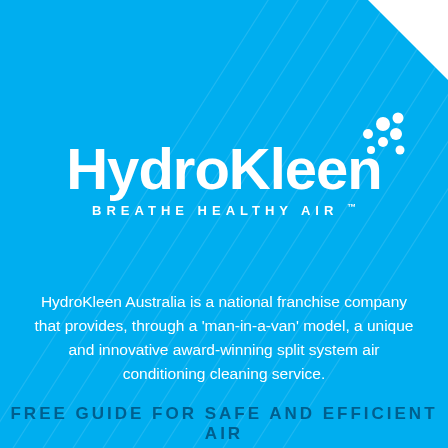[Figure (logo): HydroKleen logo with dots icon and tagline BREATHE HEALTHY AIR TM on blue background]
HydroKleen Australia is a national franchise company that provides, through a 'man-in-a-van' model, a unique and innovative award-winning split system air conditioning cleaning service.
FREE GUIDE FOR SAFE AND EFFICIENT AIR